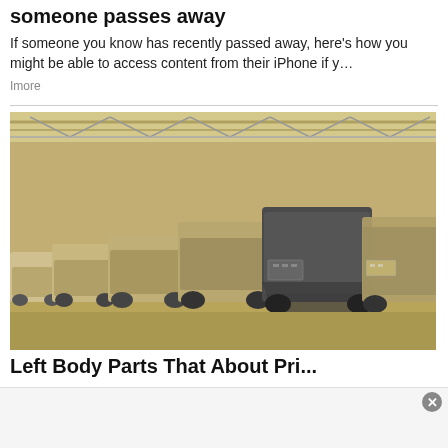someone passes away
If someone you know has recently passed away, here's how you might be able to access content from their iPhone if y…
Imore
[Figure (photo): Row of pickup trucks and SUVs covered in dust or plastic sheeting, parked inside a large warehouse or storage facility with a metal truss ceiling and sandy floor.]
Left Body Parts That About Pri...